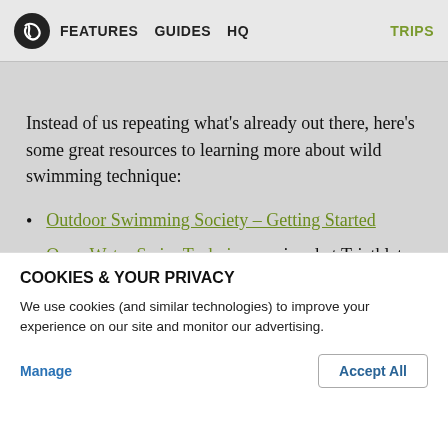FEATURES  GUIDES  HQ  TRIPS
Instead of us repeating what’s already out there, here’s some great resources to learning more about wild swimming technique:
Outdoor Swimming Society – Getting Started
Open Water Swim Technique – aimed at Triathletes but still useful
Wildswimming.co.uk – yes really!
COOKIES & YOUR PRIVACY
We use cookies (and similar technologies) to improve your experience on our site and monitor our advertising.
Manage    Accept All